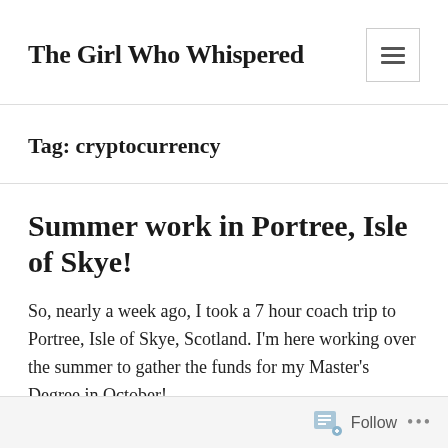The Girl Who Whispered
Tag: cryptocurrency
Summer work in Portree, Isle of Skye!
So, nearly a week ago, I took a 7 hour coach trip to Portree, Isle of Skye, Scotland. I'm here working over the summer to gather the funds for my Master's Degree in October!
Follow ...